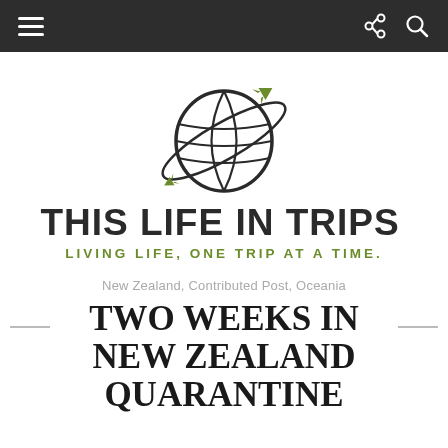Navigation bar with hamburger menu, share icon, and search icon
[Figure (logo): Globe with airplane flying around it and two small airplane icons, sketch style logo for This Life In Trips travel blog]
THIS LIFE IN TRIPS
LIVING LIFE, ONE TRIP AT A TIME.
New Zealand, Contributed Post, Oceania
TWO WEEKS IN NEW ZEALAND QUARANTINE